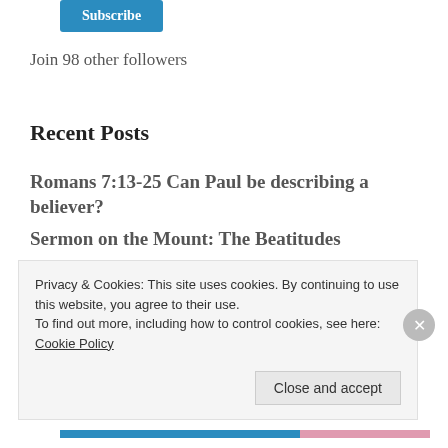[Figure (other): Blue Subscribe button (partially visible at top)]
Join 98 other followers
Recent Posts
Romans 7:13-25 Can Paul be describing a believer?
Sermon on the Mount: The Beatitudes
On Forgiving and Forgetting
The Danger of Wasted Talents
Privacy & Cookies: This site uses cookies. By continuing to use this website, you agree to their use.
To find out more, including how to control cookies, see here: Cookie Policy
Close and accept